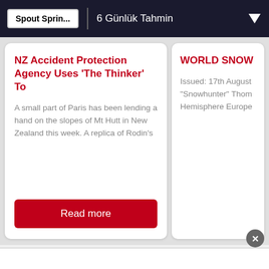Spout Sprin... | 6 Günlük Tahmin
NZ Accident Protection Agency Uses 'The Thinker' To
A small part of Paris has been lending a hand on the slopes of Mt Hutt in New Zealand this week. A replica of Rodin's
Read more
WORLD SNOW H
Issued: 17th August "Snowhunter" Thom Hemisphere Europe
Spout Springs Forecast Snowfall
Son 7 gün
Son 3 gün